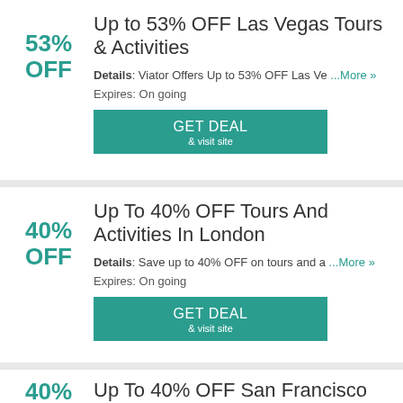Up to 53% OFF Las Vegas Tours & Activities
Details: Viator Offers Up to 53% OFF Las Ve ...More »
Expires: On going
GET DEAL & visit site
Up To 40% OFF Tours And Activities In London
Details: Save up to 40% OFF on tours and a ...More »
Expires: On going
GET DEAL & visit site
Up To 40% OFF San Francisco Tours
Details: Save Up To 40% OFF San Francisco ... More »